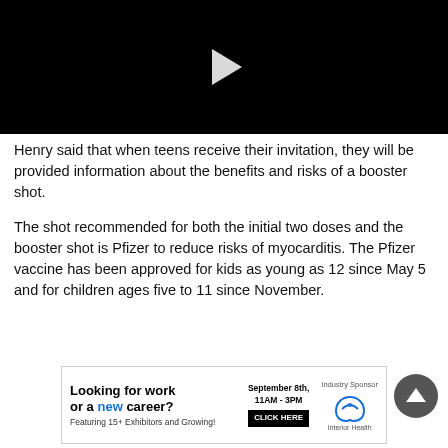[Figure (screenshot): Black video player with white play button triangle in center]
Henry said that when teens receive their invitation, they will be provided information about the benefits and risks of a booster shot.
The shot recommended for both the initial two doses and the booster shot is Pfizer to reduce risks of myocarditis. The Pfizer vaccine has been approved for kids as young as 12 since May 5 and for children ages five to 11 since November.
[Figure (infographic): Advertisement banner: Looking for work or a new career? Featuring 15+ Exhibitors and Growing! September 8th, 11AM-3PM CLICK HERE. Industry Sponsor: Interior Health logo.]